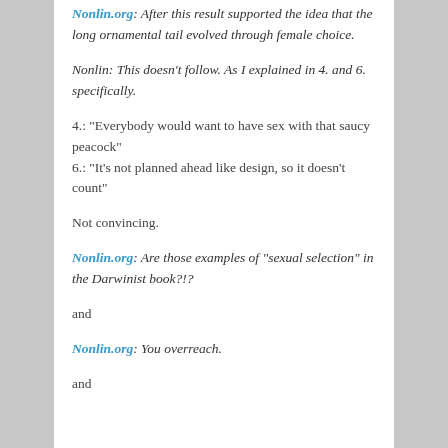Nonlin.org: After this result supported the idea that the long ornamental tail evolved through female choice.
Nonlin: This doesn't follow. As I explained in 4. and 6. specifically.
4.: “Everybody would want to have sex with that saucy peacock”
6.: “It’s not planned ahead like design, so it doesn’t count”
Not convincing.
Nonlin.org: Are those examples of “sexual selection” in the Darwinist book?!?
and
Nonlin.org: You overreach.
and